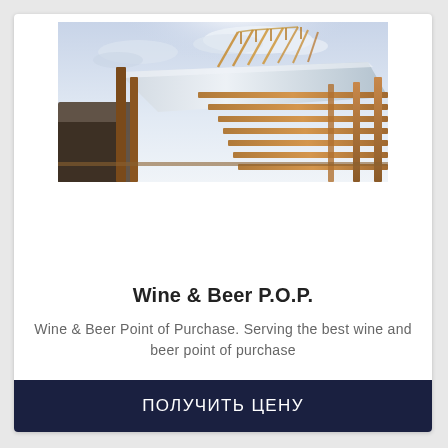[Figure (photo): Construction site photo showing wooden framing and beams of a building under construction against a cloudy sky]
Wine & Beer P.O.P.
Wine & Beer Point of Purchase. Serving the best wine and beer point of purchase
ПОЛУЧИТЬ ЦЕНУ